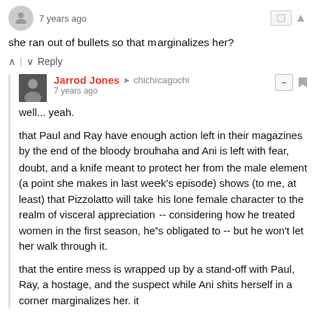7 years ago
she ran out of bullets so that marginalizes her?
^ | v  Reply
Jarrod Jones → chichicagochi
7 years ago
well... yeah.

that Paul and Ray have enough action left in their magazines by the end of the bloody brouhaha and Ani is left with fear, doubt, and a knife meant to protect her from the male element (a point she makes in last week's episode) shows (to me, at least) that Pizzolatto will take his lone female character to the realm of visceral appreciation -- considering how he treated women in the first season, he's obligated to -- but he won't let her walk through it.

that the entire mess is wrapped up by a stand-off with Paul, Ray, a hostage, and the suspect while Ani shits herself in a corner marginalizes her. it